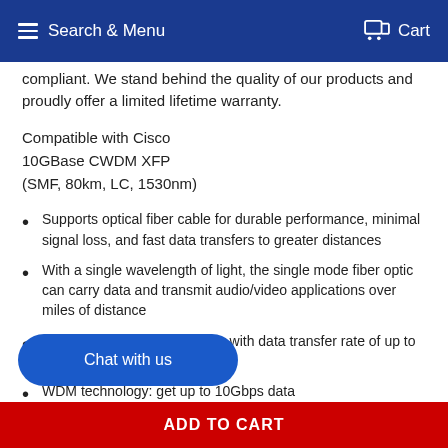Search & Menu  Cart
compliant. We stand behind the quality of our products and proudly offer a limited lifetime warranty.
Compatible with Cisco
10GBase CWDM XFP
(SMF, 80km, LC, 1530nm)
Supports optical fiber cable for durable performance, minimal signal loss, and fast data transfers to greater distances
With a single wavelength of light, the single mode fiber optic can carry data and transmit audio/video applications over miles of distance
Enjoy flexibility and scalability with data transfer rate of up to 10 Gigabit Ethernet technology
WDM technology: get up to 10Gbps data...